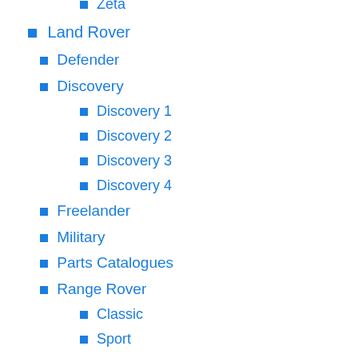Zeta
Land Rover
Defender
Discovery
Discovery 1
Discovery 2
Discovery 3
Discovery 4
Freelander
Military
Parts Catalogues
Range Rover
Classic
Sport
Series 1
Series 2
Series 3
Wiring Diagrams
Lexus